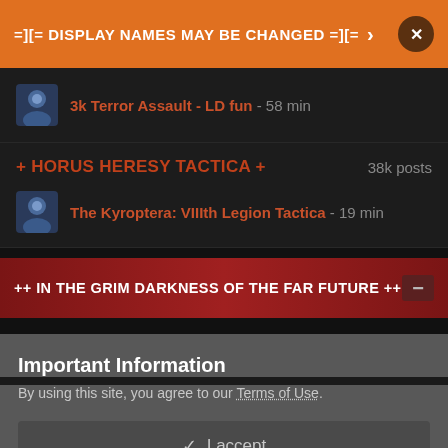=][= DISPLAY NAMES MAY BE CHANGED =][= >
3k Terror Assault - LD fun - 58 min
+ HORUS HERESY TACTICA + 38k posts
The Kyroptera: VIIIth Legion Tactica - 19 min
++ IN THE GRIM DARKNESS OF THE FAR FUTURE ++
Important Information
By using this site, you agree to our Terms of Use.
✓ I accept